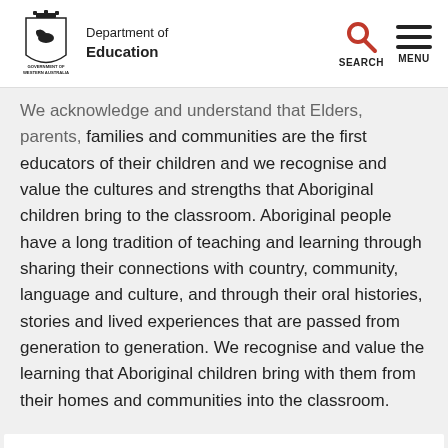Department of Education — Government of Western Australia
We acknowledge and understand that Elders, parents, families and communities are the first educators of their children and we recognise and value the cultures and strengths that Aboriginal children bring to the classroom. Aboriginal people have a long tradition of teaching and learning through sharing their connections with country, community, language and culture, and through their oral histories, stories and lived experiences that are passed from generation to generation. We recognise and value the learning that Aboriginal children bring with them from their homes and communities into the classroom.
Provide your feedback